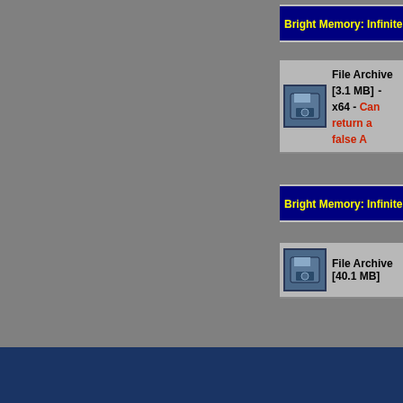Bright Memory: Infinite v1.0 +5 TRAINER
File Archive [3.1 MB] - x64 - Can return a false A
Bright Memory: Infinite v1.0 [M11] Fixed Files
File Archive [40.1 MB]
(c)1998-2022 GameC... Privacy Policy |